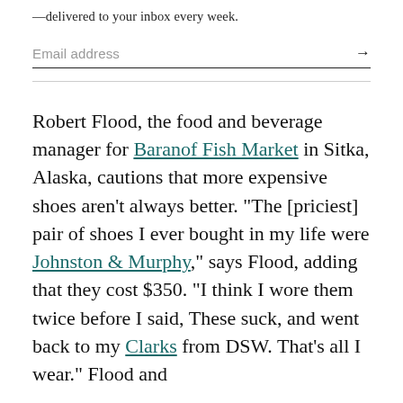—delivered to your inbox every week.
Email address →
Robert Flood, the food and beverage manager for Baranof Fish Market in Sitka, Alaska, cautions that more expensive shoes aren't always better. "The [priciest] pair of shoes I ever bought in my life were Johnston & Murphy," says Flood, adding that they cost $350. "I think I wore them twice before I said, These suck, and went back to my Clarks from DSW. That's all I wear." Flood and